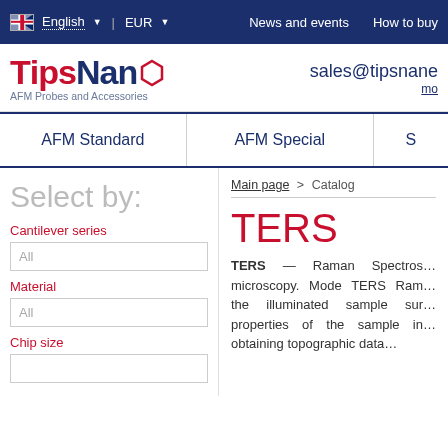English | EUR | News and events | How to buy
[Figure (logo): TipsNano logo with text 'AFM Probes and Accessories' and email sales@tipsnano]
AFM Standard | AFM Special | S
Select by:
Main page > Catalog
Cantilever series
All
Material
All
Chip size
TERS
TERS — Raman Spectros… microscopy. Mode TERS Ram… the illuminated sample sur… properties of the sample in… obtaining topographic data…